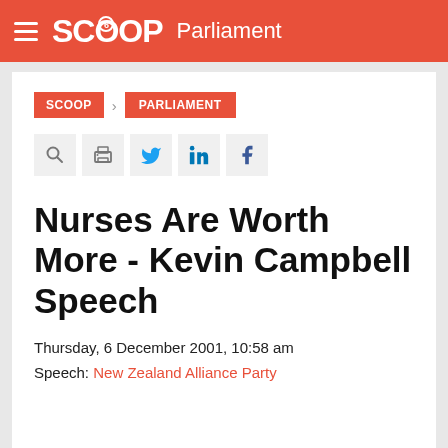SCOOP Parliament
SCOOP > PARLIAMENT
Nurses Are Worth More - Kevin Campbell Speech
Thursday, 6 December 2001, 10:58 am
Speech: New Zealand Alliance Party